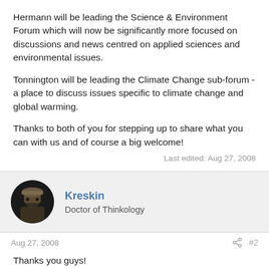Hermann will be leading the Science & Environment Forum which will now be significantly more focused on discussions and news centred on applied sciences and environmental issues.
Tonnington will be leading the Climate Change sub-forum - a place to discuss issues specific to climate change and global warming.
Thanks to both of you for stepping up to share what you can with us and of course a big welcome!
Last edited: Aug 27, 2008
Kreskin
Doctor of Thinkology
Aug 27, 2008
#2
Thanks you guys!